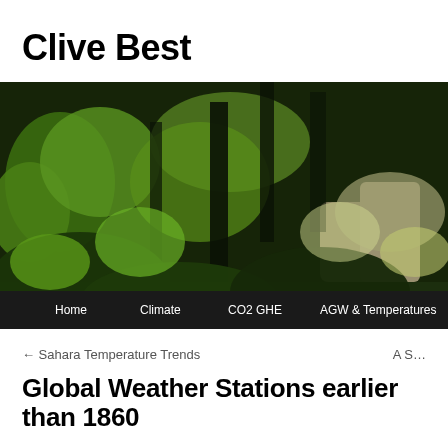Clive Best
[Figure (photo): A lush green forest scene with trees, foliage, and rocks, used as the website header image. A navigation bar with menu items Home, Climate, CO2 GHE, AGW & Temperatures, Energy is overlaid at the bottom.]
← Sahara Temperature Trends    A S…
Global Weather Stations earlier than 1860